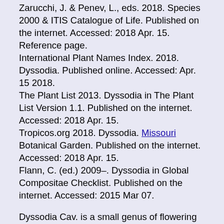Zarucchi, J. & Penev, L., eds. 2018. Species 2000 & ITIS Catalogue of Life. Published on the internet. Accessed: 2018 Apr. 15. Reference page.
International Plant Names Index. 2018. Dyssodia. Published online. Accessed: Apr. 15 2018.
The Plant List 2013. Dyssodia in The Plant List Version 1.1. Published on the internet. Accessed: 2018 Apr. 15.
Tropicos.org 2018. Dyssodia. Missouri Botanical Garden. Published on the internet. Accessed: 2018 Apr. 15.
Flann, C. (ed.) 2009–. Dyssodia in Global Compositae Checklist. Published on the internet. Accessed: 2015 Mar 07.
Dyssodia Cav. is a small genus of flowering plants in the daisy family. Most dyssodias are now treated as members of other related genera, including Thymophylla or Adenophyllum, with Dyssodia as genus synonym. Dyssodia papposa is